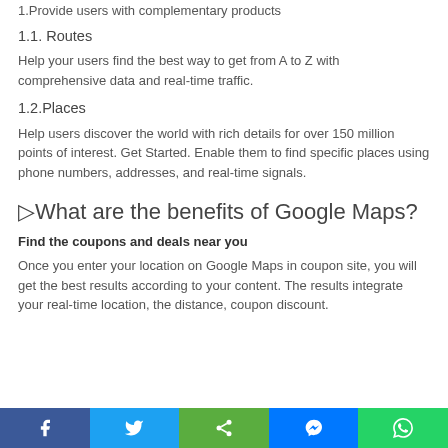1.Provide users with complementary products
1.1. Routes
Help your users find the best way to get from A to Z with comprehensive data and real-time traffic.
1.2.Places
Help users discover the world with rich details for over 150 million points of interest. Get Started. Enable them to find specific places using phone numbers, addresses, and real-time signals.
▷What are the benefits of Google Maps?
Find the coupons and deals near you
Once you enter your location on Google Maps in coupon site, you will get the best results according to your content. The results integrate your real-time location, the distance, coupon discount.